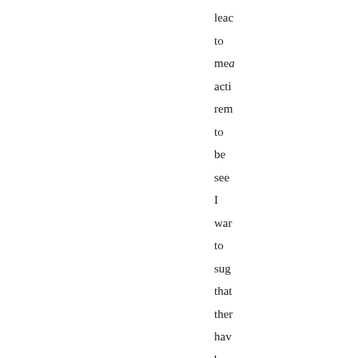lead to mea acti rem to be see I wan to sug that ther hav bee two pro wro ass ma in mo